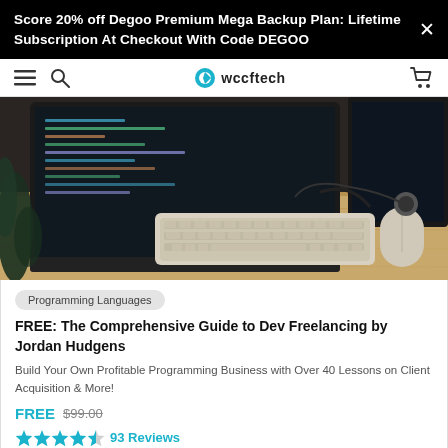Score 20% off Degoo Premium Mega Backup Plan: Lifetime Subscription At Checkout With Code DEGOO
[Figure (screenshot): Website navigation bar with hamburger menu, search icon, wccftech logo, and shopping cart icon]
[Figure (photo): Desktop computer setup on a wooden desk with Apple keyboard, mouse, and monitor showing a dark screen]
Programming Languages
FREE: The Comprehensive Guide to Dev Freelancing by Jordan Hudgens
Build Your Own Profitable Programming Business with Over 40 Lessons on Client Acquisition & More!
FREE $99.00
93 Reviews